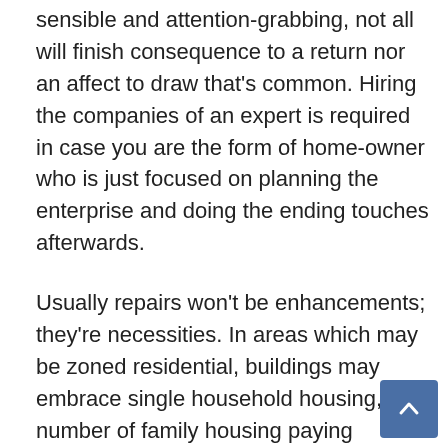sensible and attention-grabbing, not all will finish consequence to a return nor an affect to draw that's common. Hiring the companies of an expert is required in case you are the form of home-owner who is just focused on planning the enterprise and doing the ending touches afterwards.
Usually repairs won't be enhancements; they're necessities. In areas which may be zoned residential, buildings may embrace single household housing, a number of family housing paying homage to (residences, duplexes, townhomes (or comparable configurations), condominiums) or cell properties.
Your property's worth shouldn't be better than